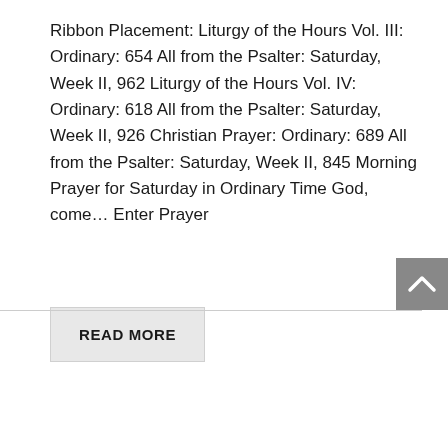Ribbon Placement: Liturgy of the Hours Vol. III: Ordinary: 654 All from the Psalter: Saturday, Week II, 962 Liturgy of the Hours Vol. IV: Ordinary: 618 All from the Psalter: Saturday, Week II, 926 Christian Prayer: Ordinary: 689 All from the Psalter: Saturday, Week II, 845 Morning Prayer for Saturday in Ordinary Time God, come... Enter Prayer
READ MORE